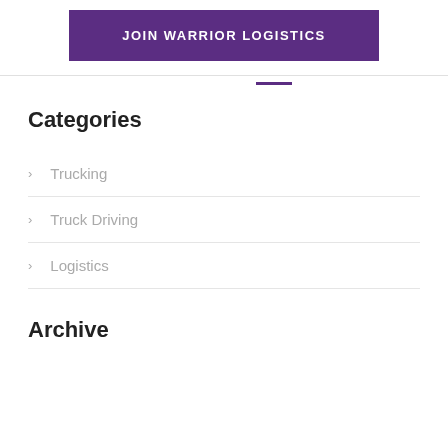JOIN WARRIOR LOGISTICS
Categories
Trucking
Truck Driving
Logistics
Archive